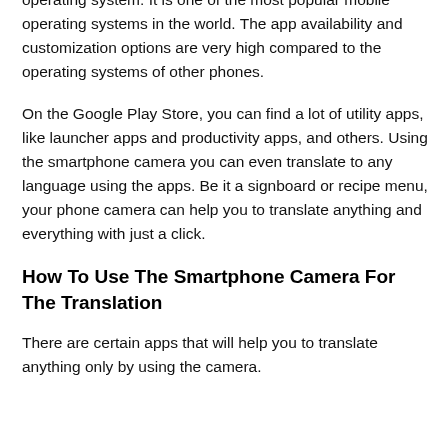operating system. It is one of the most popular mobile operating systems in the world. The app availability and customization options are very high compared to the operating systems of other phones.
On the Google Play Store, you can find a lot of utility apps, like launcher apps and productivity apps, and others. Using the smartphone camera you can even translate to any language using the apps. Be it a signboard or recipe menu, your phone camera can help you to translate anything and everything with just a click.
How To Use The Smartphone Camera For The Translation
There are certain apps that will help you to translate anything only by using the camera.